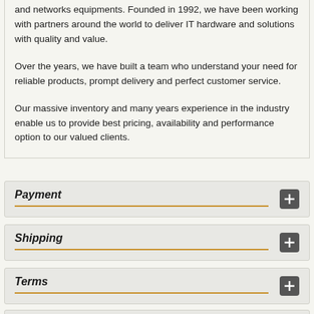and networks equipments. Founded in 1992, we have been working with partners around the world to deliver IT hardware and solutions with quality and value.
Over the years, we have built a team who understand your need for reliable products, prompt delivery and perfect customer service.
Our massive inventory and many years experience in the industry enable us to provide best pricing, availability and performance option to our valued clients.
Payment
Shipping
Terms
Returns